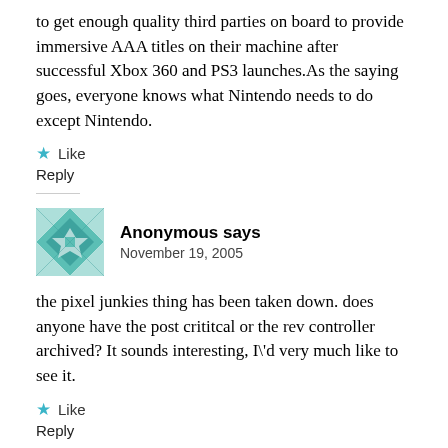to get enough quality third parties on board to provide immersive AAA titles on their machine after successful Xbox 360 and PS3 launches.As the saying goes, everyone knows what Nintendo needs to do except Nintendo.
★ Like
Reply
Anonymous says
November 19, 2005
the pixel junkies thing has been taken down. does anyone have the post crititcal or the rev controller archived? It sounds interesting, I\'d very much like to see it.
★ Like
Reply